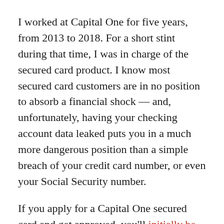I worked at Capital One for five years, from 2013 to 2018. For a short stint during that time, I was in charge of the secured card product. I know most secured card customers are in no position to absorb a financial shock — and, unfortunately, having your checking account data leaked puts you in a much more dangerous position than a simple breach of your credit card number, or even your Social Security number.
If you apply for a Capital One secured card and get approved, you'll initially be assigned a $200 credit limit, contingent on you sending in a security deposit of either $49, $99, or $200. The minimum security deposit you have to make depends on your risk as an applicant.
Think about that for a second: People are putting down a $49 deposit to get a $200 credit limit and below...